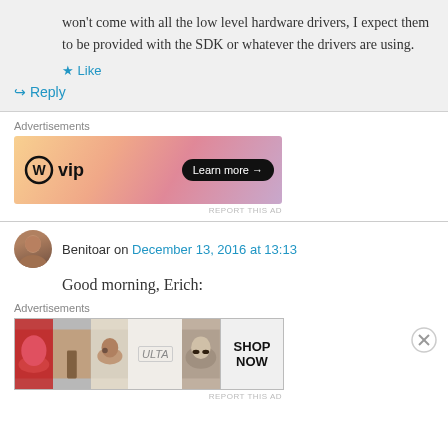won't come with all the low level hardware drivers, I expect them to be provided with the SDK or whatever the drivers are using.
★ Like
↪ Reply
[Figure (other): WordPress VIP advertisement banner with orange/pink gradient and 'Learn more →' button]
Benitoar on December 13, 2016 at 13:13
Good morning, Erich:
[Figure (other): ULTA beauty advertisement banner with cosmetic images and 'SHOP NOW' text]